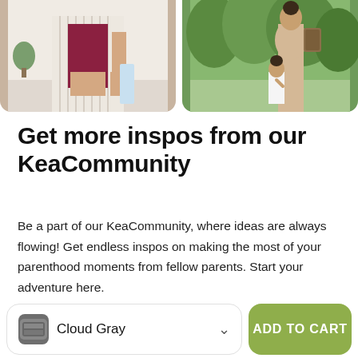[Figure (photo): Two photos side by side: left photo shows a woman in a striped blazer and dark top holding something (cropped, partial view); right photo shows a woman with a child outdoors near greenery/trees near water.]
Get more inspos from our KeaCommunity
Be a part of our KeaCommunity, where ideas are always flowing! Get endless inspos on making the most of your parenthood moments from fellow parents. Start your adventure here.
Cloud Gray
ADD TO CART